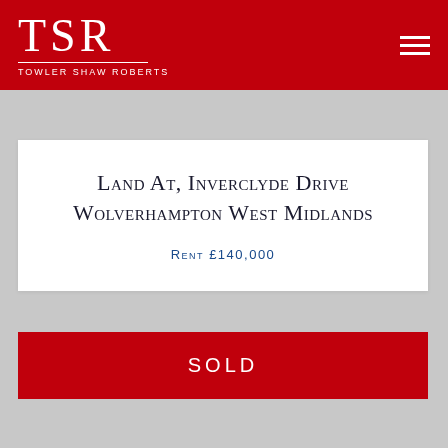TSR TOWLER SHAW ROBERTS
Land At, Inverclyde Drive Wolverhampton West Midlands
Rent £140,000
SOLD